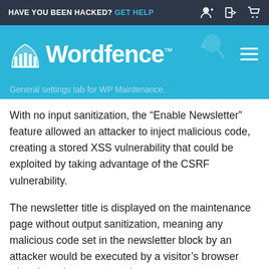HAVE YOU BEEN HACKED? GET HELP
[Figure (logo): Wordfence logo with building icon on teal/blue background header banner]
General settings tab for WP Maintenance.
With no input sanitization, the “Enable Newsletter” feature allowed an attacker to inject malicious code, creating a stored XSS vulnerability that could be exploited by taking advantage of the CSRF vulnerability.
The newsletter title is displayed on the maintenance page without output sanitization, meaning any malicious code set in the newsletter block by an attacker would be executed by a visitor’s browser when in maintenance mode.